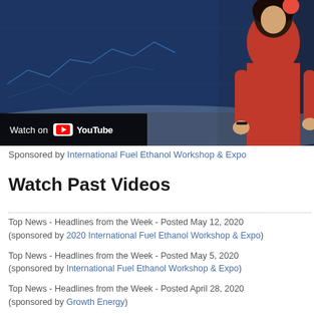[Figure (screenshot): Video thumbnail showing a news anchor in a red outfit against a blue studio background with graphs, with a YouTube 'Watch on YouTube' overlay bar at the bottom left.]
Sponsored by International Fuel Ethanol Workshop & Expo
Watch Past Videos
Top News - Headlines from the Week - Posted May 12, 2020 (sponsored by 2020 International Fuel Ethanol Workshop & Expo)
Top News - Headlines from the Week - Posted May 5, 2020 (sponsored by International Fuel Ethanol Workshop & Expo)
Top News - Headlines from the Week - Posted April 28, 2020 (sponsored by Growth Energy)
Top News - Headlines from the Week - Posted April 20, 2020